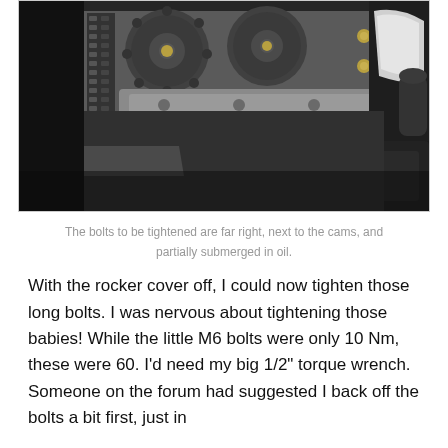[Figure (photo): Close-up photograph of an engine with the rocker cover removed, showing camshafts, timing chain, cam gears, metal brackets, and various bolts. Some components are partially submerged in oil. The image shows metallic engine internals in dark grey tones with some gold-colored bolts visible.]
The bolts to be tightened are far right, next to the cams, and partially submerged in oil.
With the rocker cover off, I could now tighten those long bolts. I was nervous about tightening those babies! While the little M6 bolts were only 10 Nm, these were 60. I'd need my big 1/2" torque wrench. Someone on the forum had suggested I back off the bolts a bit first, just in